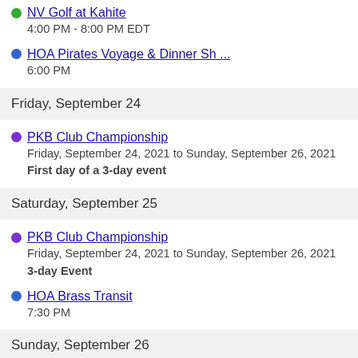NV Golf at Kahite
4:00 PM - 8:00 PM EDT
HOA Pirates Voyage & Dinner Sh ...
6:00 PM
Friday, September 24
PKB Club Championship
Friday, September 24, 2021 to Sunday, September 26, 2021
First day of a 3-day event
Saturday, September 25
PKB Club Championship
Friday, September 24, 2021 to Sunday, September 26, 2021
3-day Event
HOA Brass Transit
7:30 PM
Sunday, September 26
PKB Club Championship